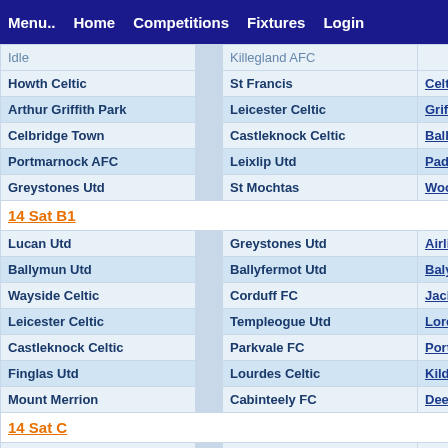Menu..  Home  Competitions  Fixtures  Login
| Team 1 |  | Team 2 | Venue |
| --- | --- | --- | --- |
| Idle |  | Killegland AFC |  |
| Howth Celtic |  | St Francis | Celtic Pa... |
| Arthur Griffith Park |  | Leicester Celtic | Griffeen... |
| Celbridge Town |  | Castleknock Celtic | Ballyma... |
| Portmarnock AFC |  | Leixlip Utd | Paddy's... |
| Greystones Utd |  | St Mochtas | Woodlan... |
| 14 Sat B1 |  |  |  |
| Lucan Utd |  | Greystones Utd | Airlie He... |
| Ballymun Utd |  | Ballyfermot Utd | Ballymu... |
| Wayside Celtic |  | Corduff FC | Jackson... |
| Leicester Celtic |  | Templeogue Utd | Loreto P... |
| Castleknock Celtic |  | Parkvale FC | Porterste... |
| Finglas Utd |  | Lourdes Celtic | Kildonan... |
| Mount Merrion |  | Cabinteely FC | Deer Par... |
| 14 Sat C |  |  |  |
| Lucan Utd |  | Ballyowen Celtic | Airlie He... |
| Leicester Celtic |  | Idle |  |